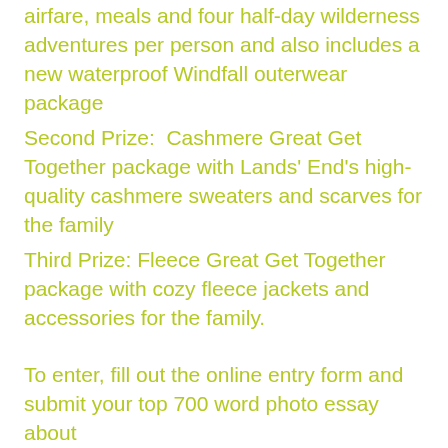airfare, meals and four half-day wilderness adventures per person and also includes a new waterproof Windfall outerwear package
Second Prize:  Cashmere Great Get Together package with Lands' End's high-quality cashmere sweaters and scarves for the family
Third Prize: Fleece Great Get Together package with cozy fleece jackets and accessories for the family.
To enter, fill out the online entry form and submit your top 700 word photo essay about...